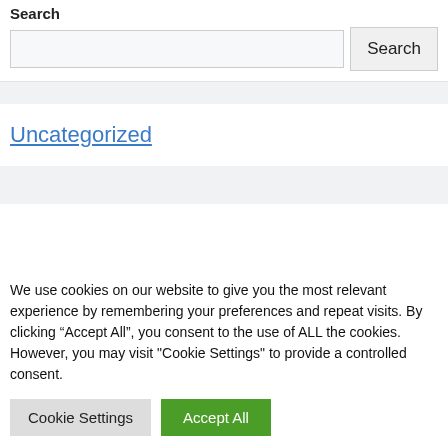Search
Search input and button
Uncategorized
We use cookies on our website to give you the most relevant experience by remembering your preferences and repeat visits. By clicking “Accept All”, you consent to the use of ALL the cookies. However, you may visit "Cookie Settings" to provide a controlled consent.
Cookie Settings | Accept All